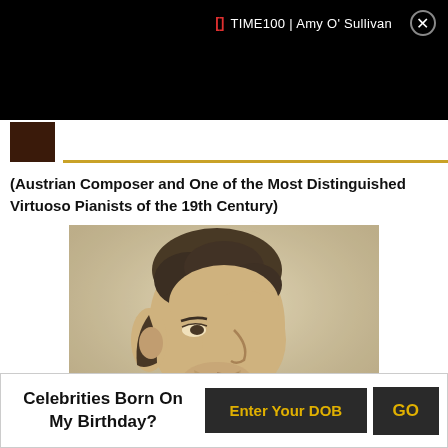TIME100 | Amy O' Sullivan
(Austrian Composer and One of the Most Distinguished Virtuoso Pianists of the 19th Century)
[Figure (photo): Black and white side profile portrait photograph of a 19th century man with dark curly hair and beard stubble, wearing formal attire]
Celebrities Born On My Birthday?
Enter Your DOB
GO